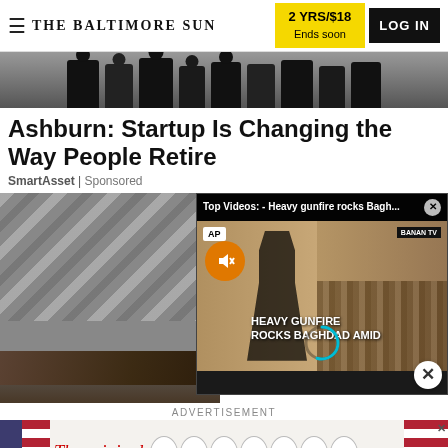THE BALTIMORE SUN — 2 YRS/$18 Ends soon — LOG IN
[Figure (photo): Hero image strip showing group of people (silhouettes/legs) standing on a brick/stone surface]
Ashburn: Startup Is Changing the Way People Retire
SmartAsset | Sponsored
[Figure (photo): Left side: Close-up photo of a roof/gutter with debris and leaf clog. Right side: Video overlay popup showing AP news video titled 'Heavy gunfire rocks Bagh...' with AP badge, mute button, crowd scene, and text 'HEAVY GUNFIRE ROCKS BAGHDAD AMID']
ADVERTISEMENT
[Figure (photo): Advertisement banner: American flag on left, text 'The original' in red italic, then oval letter badges spelling BERGERS, American flag on right with X close button]